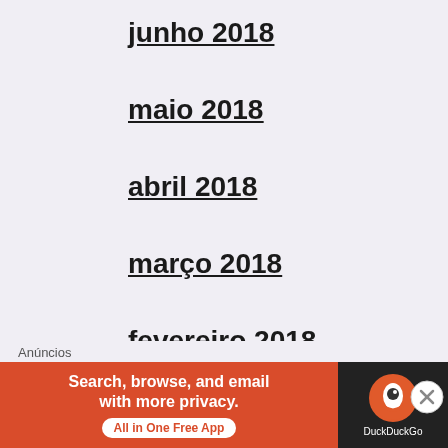junho 2018
maio 2018
abril 2018
março 2018
fevereiro 2018
janeiro 2018
dezembro 2017
novembro 2017
Anúncios
[Figure (infographic): DuckDuckGo advertisement banner: orange left section with text 'Search, browse, and email with more privacy. All in One Free App' and dark right section with DuckDuckGo logo]